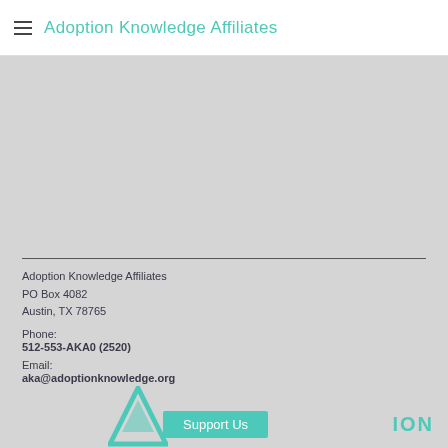Adoption Knowledge Affiliates
Adoption Knowledge Affiliates
PO Box 4082
Austin, TX 78765

Phone:
512-553-AKA0 (2520)
Email:
aka@adoptionknowledge.org
[Figure (logo): Teal triangle logo with 'ION' text and Support Us button at the bottom of the page]